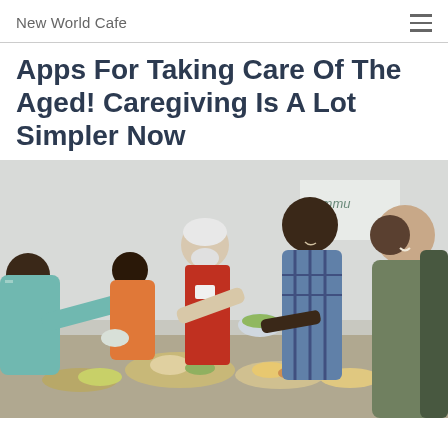New World Cafe
Apps For Taking Care Of The Aged! Caregiving Is A Lot Simpler Now
[Figure (photo): Group of people at a community kitchen or food service event. Volunteers in aprons serving food to recipients. Diverse group including an elderly white-bearded man in a red apron, a young woman in a teal striped shirt, and several men receiving food. A sign in the background partially reads 'Commu...']